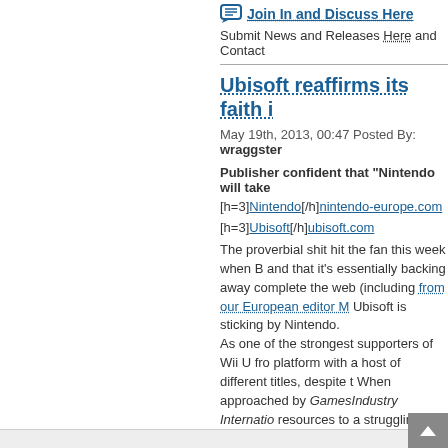To read more of the post and Download, cl
Join In and Discuss Here
Submit News and Releases Here and Contact
Ubisoft reaffirms its faith i
May 19th, 2013, 00:47 Posted By: wraggster
Publisher confident that "Nintendo will take
[h=3]Nintendo[/h]nintendo-europe.com
[h=3]Ubisoft[/h]ubisoft.com
The proverbial shit hit the fan this week when B and that it's essentially backing away complete the web (including from our European editor M Ubisoft is sticking by Nintendo. As one of the strongest supporters of Wii U fro platform with a host of different titles, despite t When approached by GamesIndustry Internatio resources to a struggling platform, a spokespe established base. Ubisoft has a varied and hig Legends, Watch Dogs, Assassin's Creed IV Bl continuing to attract gamers to the Wii U syste market." Nintendo has a hard road ahead of it t